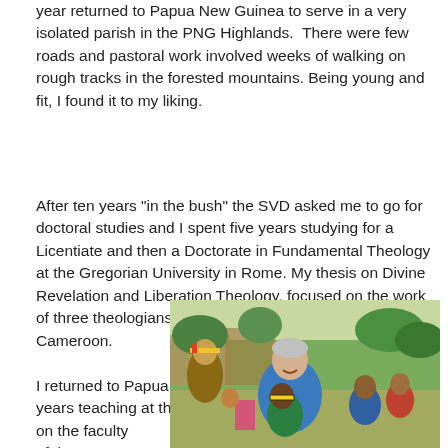year returned to Papua New Guinea to serve in a very isolated parish in the PNG Highlands.  There were few roads and pastoral work involved weeks of walking on rough tracks in the forested mountains. Being young and fit, I found it to my liking.
After ten years "in the bush" the SVD asked me to go for doctoral studies and I spent five years studying for a Licentiate and then a Doctorate in Fundamental Theology at the Gregorian University in Rome. My thesis on Divine Revelation and Liberation Theology, focused on the work of three theologians: from Peru, Sri Lanka and Cameroon.
I returned to Papua New Guinea in 1996 and served four years teaching at the National Seminary, then four years on the faculty of the
[Figure (photo): A man with gray hair wearing a blue t-shirt bends down smiling toward children in a village setting in Papua New Guinea. Children in traditional and colorful clothing surround him. A crowd of villagers is visible in the background among thatched huts and trees.]